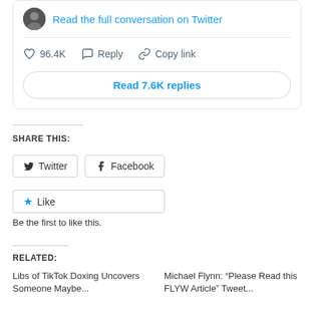[Figure (screenshot): Twitter embed card showing a profile avatar, 'Read the full conversation on Twitter' link, like count 96.4K, Reply and Copy link actions, and a 'Read 7.6K replies' button]
SHARE THIS:
Twitter   Facebook
Like
Be the first to like this.
RELATED:
Libs of TikTok Doxing Uncovers Someone Maybe...
Michael Flynn: "Please Read this FLYW Article" Tweet...